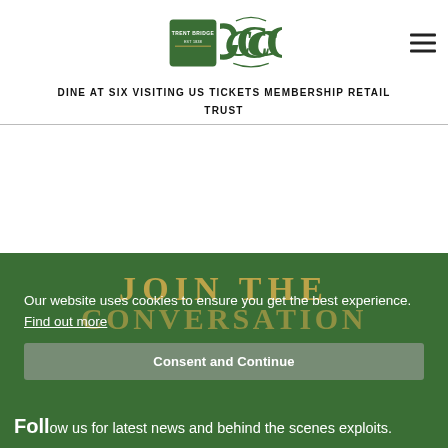[Figure (logo): Trent Bridge and Nottinghamshire County Cricket Club logos side by side]
DINE AT SIX  VISITING US  TICKETS  MEMBERSHIP  RETAIL  TRUST
JOIN THE CONVERSATION
Our website uses cookies to ensure you get the best experience. Find out more
Consent and Continue
Follow us for latest news and behind the scenes exploits.